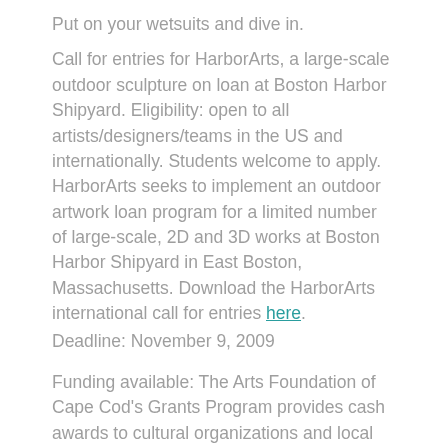Put on your wetsuits and dive in.
Call for entries for HarborArts, a large-scale outdoor sculpture on loan at Boston Harbor Shipyard. Eligibility: open to all artists/designers/teams in the US and internationally. Students welcome to apply. HarborArts seeks to implement an outdoor artwork loan program for a limited number of large-scale, 2D and 3D works at Boston Harbor Shipyard in East Boston, Massachusetts. Download the HarborArts international call for entries here. Deadline: November 9, 2009
Funding available: The Arts Foundation of Cape Cod's Grants Program provides cash awards to cultural organizations and local artists engaged in projects that help creating a strong, stable, and diverse arts and culture industry on Cape Cod, and contribute positively to